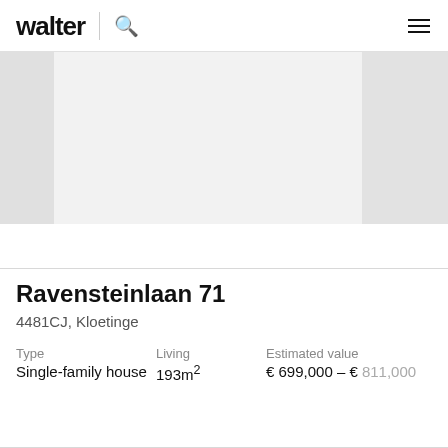walter
[Figure (photo): Property image carousel showing a house or property listing, with side strip panels and a main light gray image area]
Ravensteinlaan 71
4481CJ, Kloetinge
Type: Single-family house | Living: 193m² | Estimated value: € 699,000 – € 811,000